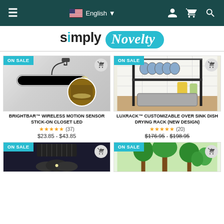≡  🇺🇸 English ▼  [user] [cart] [search]
[Figure (logo): Simply Novelty logo — 'simply' in dark bold sans-serif, 'Novelty' in white italic script inside a teal oval pill]
[Figure (photo): ON SALE badge. BrightBar wireless LED stick with USB cable, inset showing LED light under cabinet]
BRIGHTBAR™ WIRELESS MOTION SENSOR STICK-ON CLOSET LED
★★★★★ (37)
$23.85 - $43.85
[Figure (photo): ON SALE badge. LuxRack over-sink dish drying rack with plates, cups, and utensils on a kitchen counter]
LUXRACK™ CUSTOMIZABLE OVER SINK DISH DRYING RACK (NEW DESIGN)
★★★★★ (20)
$176.95 - $198.95
[Figure (photo): ON SALE badge. Solar outdoor LED floodlight with three panels, partially visible]
[Figure (photo): ON SALE badge. Green potted plants/trees, partially visible]